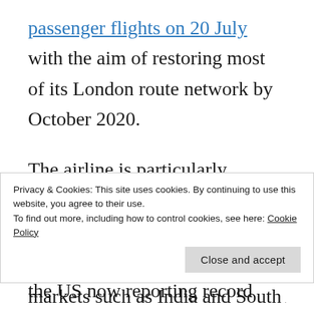passenger flights on 20 July with the aim of restoring most of its London route network by October 2020.
The airline is particularly exposed to the transatlantic market, with no short-haul network to fall back on. With the US now reporting record numbers of new
Privacy & Cookies: This site uses cookies. By continuing to use this website, you agree to their use.
To find out more, including how to control cookies, see here: Cookie Policy
markets such as India and South Africa.